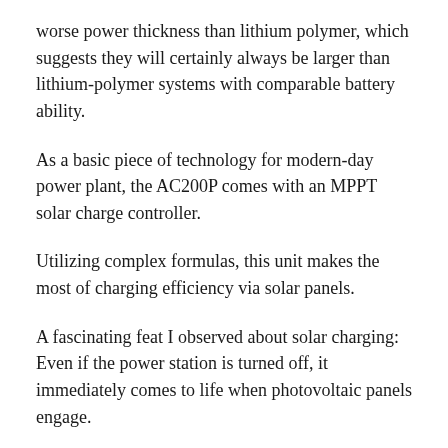worse power thickness than lithium polymer, which suggests they will certainly always be larger than lithium-polymer systems with comparable battery ability.
As a basic piece of technology for modern-day power plant, the AC200P comes with an MPPT solar charge controller.
Utilizing complex formulas, this unit makes the most of charging efficiency via solar panels.
A fascinating feat I observed about solar charging: Even if the power station is turned off, it immediately comes to life when photovoltaic panels engage.
This is really useful when you want to begin